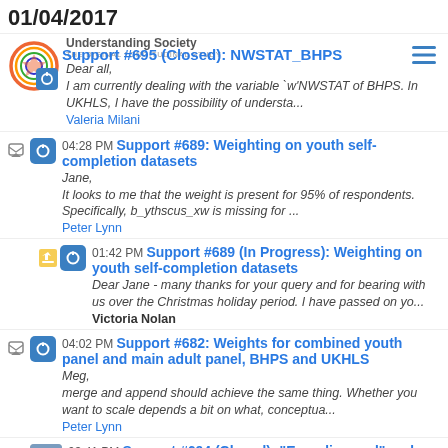01/04/2017
Support #695 (Closed): NWSTAT_BHPS — I am currently dealing with the variable `w'NWSTAT of BHPS. In UKHLS, I have the possibility of understa... — Valeria Milani
04:28 PM Support #689: Weighting on youth self-completion datasets — Jane, It looks to me that the weight is present for 95% of respondents. Specifically, b_ythscus_xw is missing for ... — Peter Lynn
01:42 PM Support #689 (In Progress): Weighting on youth self-completion datasets — Dear Jane - many thanks for your query and for bearing with us over the Christmas holiday period. I have passed on yo... — Victoria Nolan
04:02 PM Support #682: Weights for combined youth panel and main adult panel, BHPS and UKHLS — Meg, merge and append should achieve the same thing. Whether you want to scale depends a bit on what, conceptua... — Peter Lynn
03:41 PM Support #694 (Closed): "Ever divorced" and "Ever widowed" in Understanding Society